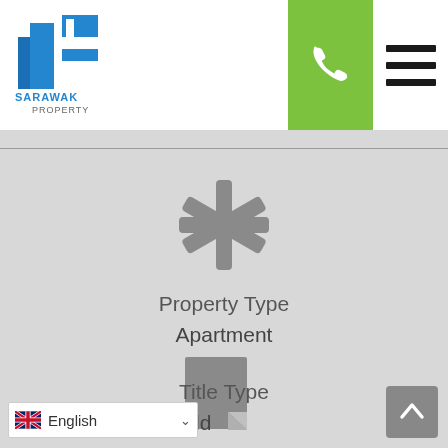[Figure (logo): Sarawak Property logo — blue building icon with blue and white flag stripe, text SARAWAK PROPERTY below]
[Figure (other): Green phone/call button icon in header]
[Figure (other): Hamburger menu icon (three horizontal black lines) in header]
[Figure (other): Gray asterisk/star icon representing property type category]
Property Type
Apartment
[Figure (other): Gray document/page icon with folded corner representing title type]
Title Type
Freehold
[Figure (other): Gray back-to-top button with upward chevron arrow]
English